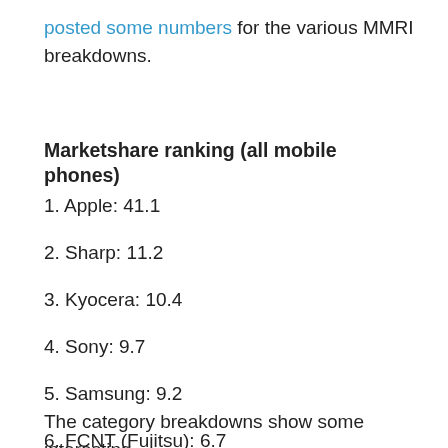posted some numbers for the various MMRI breakdowns.
Marketshare ranking (all mobile phones)
1. Apple: 41.1
2. Sharp: 11.2
3. Kyocera: 10.4
4. Sony: 9.7
5. Samsung: 9.2
6. FCNT (Fujitsu): 6.7
7. Other: 11.6
The category breakdowns show some interesting